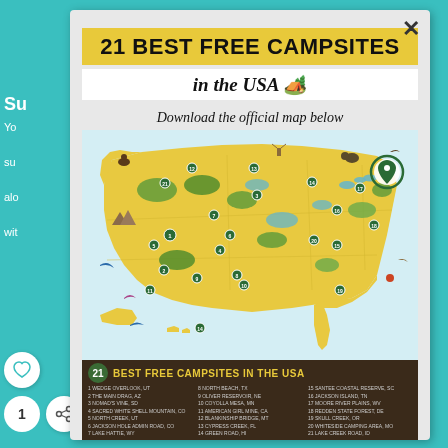21 BEST FREE CAMPSITES
in the USA 🏕️
Download the official map below
[Figure (map): Illustrated map of the USA showing 21 numbered free campsite locations across the country, with nature illustrations at each site. Bottom strip shows title '21 BEST FREE CAMPSITES IN THE USA' with numbered list of all 21 sites.]